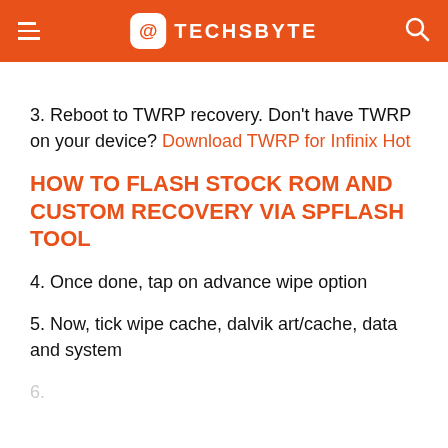TECHSBYTE
3. Reboot to TWRP recovery. Don't have TWRP on your device? Download TWRP for Infinix Hot
HOW TO FLASH STOCK ROM AND CUSTOM RECOVERY VIA SPFLASH TOOL
4. Once done, tap on advance wipe option
5. Now, tick wipe cache, dalvik art/cache, data and system
6. (faded/partially visible)